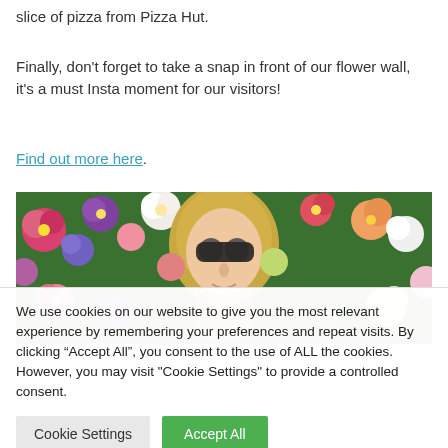slice of pizza from Pizza Hut.
Finally, don't forget to take a snap in front of our flower wall, it's a must Insta moment for our visitors!
Find out more here.
[Figure (photo): A woman with blonde hair and sunglasses posing in front of a colorful flower wall with a small dog]
We use cookies on our website to give you the most relevant experience by remembering your preferences and repeat visits. By clicking “Accept All”, you consent to the use of ALL the cookies. However, you may visit "Cookie Settings" to provide a controlled consent.